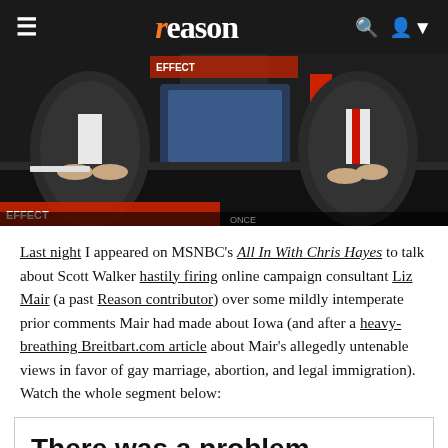reason
[Figure (screenshot): TV screenshot showing two men in suits at a news desk, appears to be an MSNBC broadcast set]
Last night I appeared on MSNBC's All In With Chris Hayes to talk about Scott Walker hastily firing online campaign consultant Liz Mair (a past Reason contributor) over some mildly intemperate prior comments Mair had made about Iowa (and after a heavy-breathing Breitbart.com article about Mair's allegedly untenable views in favor of gay marriage, abortion, and legal immigration). Watch the whole segment below:
There was a problem processing your request